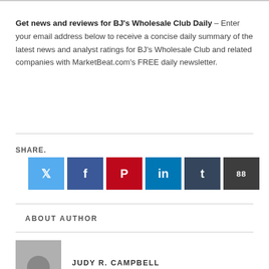Get news and reviews for BJ's Wholesale Club Daily – Enter your email address below to receive a concise daily summary of the latest news and analyst ratings for BJ's Wholesale Club and related companies with MarketBeat.com's FREE daily newsletter.
SHARE.
[Figure (infographic): Six social share buttons: Twitter (light blue), Facebook (dark blue), Pinterest (red), LinkedIn (teal blue), Tumblr (dark navy), and a counter button (dark gray showing '88')]
ABOUT AUTHOR
JUDY R. CAMPBELL